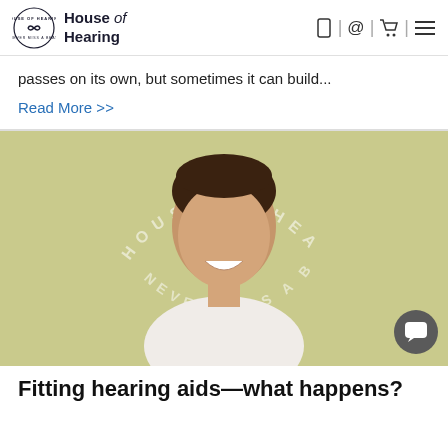House of Hearing
passes on its own, but sometimes it can build...
Read More >>
[Figure (photo): A smiling young man photographed against a olive/khaki background with 'House of Hearing' text arranged in a circular watermark pattern behind him.]
Fitting hearing aids—what happens?